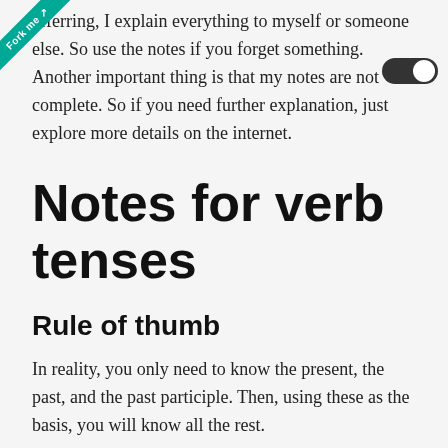referring, I explain everything to myself or someone else. So use the notes if you forget something. Another important thing is that my notes are not complete. So if you need further explanation, just explore more details on the internet.
Notes for verb tenses
Rule of thumb
In reality, you only need to know the present, the past, and the past participle. Then, using these as the basis, you will know all the rest.